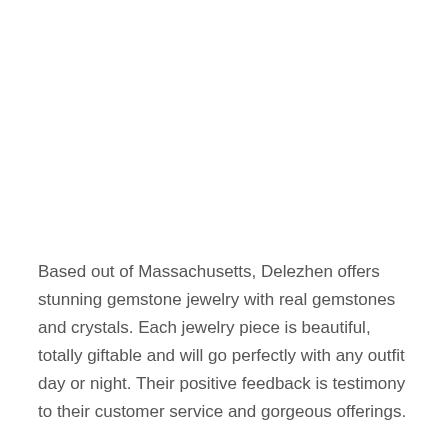Based out of Massachusetts, Delezhen offers stunning gemstone jewelry with real gemstones and crystals. Each jewelry piece is beautiful, totally giftable and will go perfectly with any outfit day or night. Their positive feedback is testimony to their customer service and gorgeous offerings.